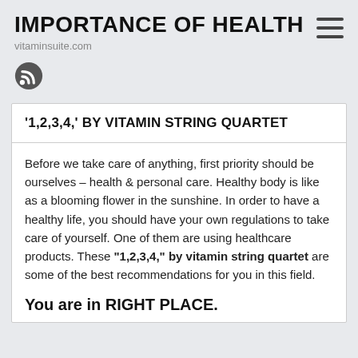IMPORTANCE OF HEALTH
vitaminsuite.com
[Figure (logo): RSS feed icon — circular dark grey button with white wifi-style signal lines]
'1,2,3,4,' BY VITAMIN STRING QUARTET
Before we take care of anything, first priority should be ourselves – health & personal care. Healthy body is like as a blooming flower in the sunshine. In order to have a healthy life, you should have your own regulations to take care of yourself. One of them are using healthcare products. These "1,2,3,4," by vitamin string quartet are some of the best recommendations for you in this field.
You are in RIGHT PLACE.